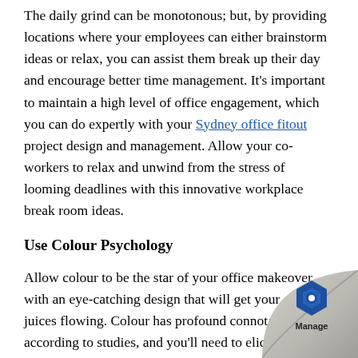The daily grind can be monotonous; but, by providing locations where your employees can either brainstorm ideas or relax, you can assist them break up their day and encourage better time management. It's important to maintain a high level of office engagement, which you can do expertly with your Sydney office fitout project design and management. Allow your co-workers to relax and unwind from the stress of looming deadlines with this innovative workplace break room ideas.
Use Colour Psychology
Allow colour to be the star of your office makeover with an eye-catching design that will get your creative juices flowing. Colour has profound connotations, according to studies, and you'll need to elicit the appropriate response from your employees and clients. The hues and tones used to create the correct atmosphere have a big impact on worker performance. Remember, every colour has an effect on how you do business, hence...
[Figure (logo): Page curl effect in bottom-right corner with a blue hexagonal logo icon and the word 'Manage' beneath it]